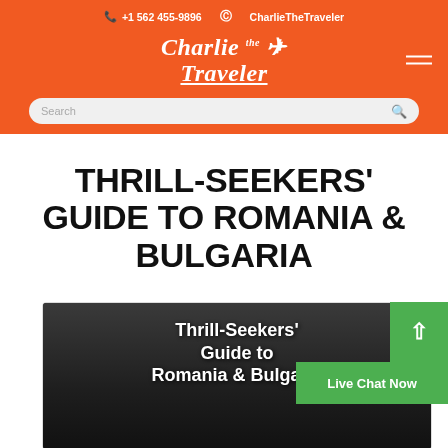+1 562 455-9896  CharlieTheTraveler
[Figure (logo): Charlie the Traveler script logo in white on orange background]
Search
THRILL-SEEKERS' GUIDE TO ROMANIA & BULGARIA
[Figure (photo): Article thumbnail image with text overlay reading 'Thrill-Seekers' Guide to Romania & Bulgaria']